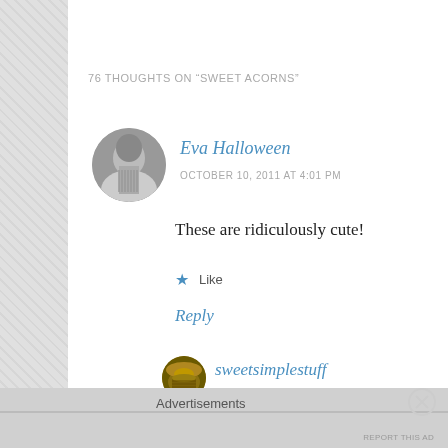76 THOUGHTS ON “SWEET ACORNS”
[Figure (photo): Round avatar photo of Eva Halloween, black and white portrait]
Eva Halloween
OCTOBER 10, 2011 AT 4:01 PM
These are ridiculously cute!
★ Like
Reply
[Figure (photo): Round avatar icon of sweetsimplestuff, cupcake illustration]
sweetsimplestuff
OCTOBER 10, 2011 AT 4:34 PM
Advertisements
REPORT THIS AD